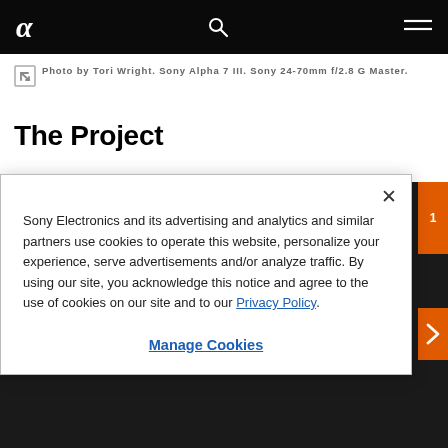Sony Alpha logo, search icon, menu icon
Photo by Tori Wright. Sony Alpha 7 III. Sony 24-70mm f/2.8 G Master.
The Project
Sony Electronics and its advertising and analytics and similar partners use cookies to operate this website, personalize your experience, serve advertisements and/or analyze traffic. By using our site, you acknowledge this notice and agree to the use of cookies on our site and to our Privacy Policy.
Manage Cookies